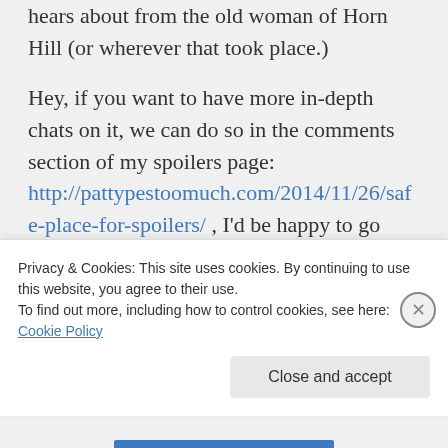hears about from the old woman of Horn Hill (or wherever that took place.)
Hey, if you want to have more in-depth chats on it, we can do so in the comments section of my spoilers page: http://pattypestoomuch.com/2014/11/26/safe-place-for-spoilers/ , I'd be happy to go more in depth.
Regardless, I really appreciate the
Privacy & Cookies: This site uses cookies. By continuing to use this website, you agree to their use.
To find out more, including how to control cookies, see here: Cookie Policy